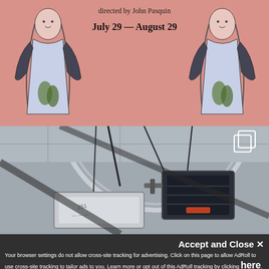[Figure (photo): Partial view of a pink theater/event program or poster. Text reads 'directed by John Pasquin', 'July 29 — August 29', followed by production credits mentioning cooperation with City of New York, Hon. Abraham D. Beame, Mayor; Hon. Martin Lang, Commissioner of Parks and Recreation; Hon. Patrick B. McGinnis, Acting Commissioner of Cultural Affairs. Also states 'These performances are made possible in part with public funds from the New York State Council on the Arts and the National Endow-'. Art nouveau-style figures on left and right sides of the poster.]
[Figure (photo): Indoor photo of mechanical or electrical equipment — boxes/cases suspended from a ceiling by cables and straps. Large circular architectural element in background. A square icon (copy/duplicate) is visible in top-right corner.]
Accept and Close ✕
Your browser settings do not allow cross-site tracking for advertising. Click on this page to allow AdRoll to use cross-site tracking to tailor ads to you. Learn more or opt out of this AdRoll tracking by clicking here. This message only appears once.